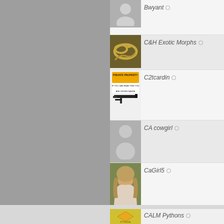[Figure (screenshot): Social network user list showing avatar thumbnails and usernames: Bwyant, C&H Exotic Morphs, C2tcardin, CA cowgirl, CaGirl5, Caitlin, Calift, CALM Pythons]
Bwyant
C&H Exotic Morphs
C2tcardin
CA cowgirl
CaGirl5
Caitlin
Calift
CALM Pythons